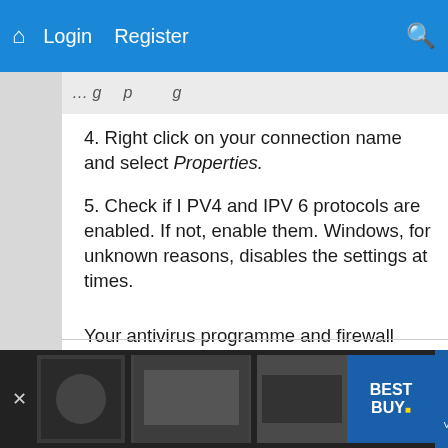Login  Register
4. Right click on your connection name and select Properties.
5. Check if I PV4 and IPV 6 protocols are enabled. If not, enable them. Windows, for unknown reasons, disables the settings at times.
Your antivirus programme and firewall settings could be culprits as well. Disable them and/ or update them.
[Figure (screenshot): Website navigation bar with blue background showing home icon, Login, Register links and search icon on the right]